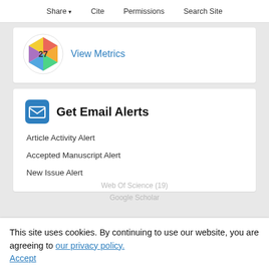Share  Cite  Permissions  Search Site
[Figure (logo): PlumX metrics badge showing the number 27 in a colorful geometric diamond shape]
View Metrics
Get Email Alerts
Article Activity Alert
Accepted Manuscript Alert
New Issue Alert
This site uses cookies. By continuing to use our website, you are agreeing to our privacy policy. Accept
Web Of Science (19)
Google Scholar